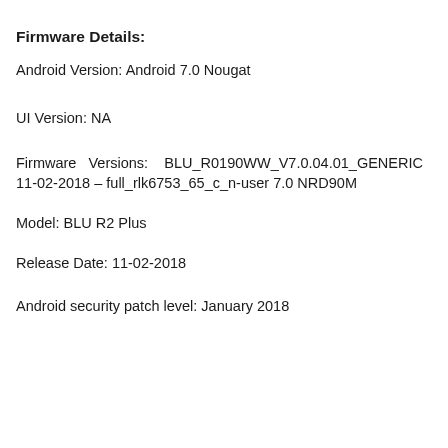Firmware Details:
Android Version: Android 7.0 Nougat
UI Version: NA
Firmware Versions: BLU_R0190WW_V7.0.04.01_GENERIC 11-02-2018 – full_rlk6753_65_c_n-user 7.0 NRD90M
Model: BLU R2 Plus
Release Date: 11-02-2018
Android security patch level: January 2018